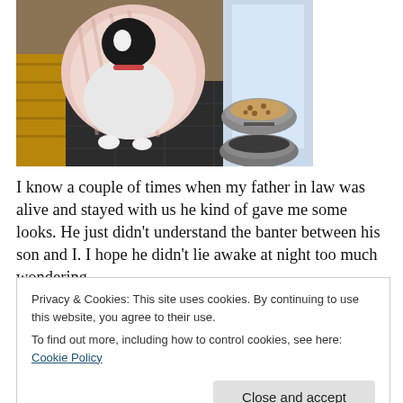[Figure (photo): A black and white dog wrapped in a pink/white blanket or cloth, standing near a doorway on a dark tiled floor, with two stainless steel pet bowls (one containing food) to the right.]
I know a couple of times when my father in law was alive and stayed with us he kind of gave me some looks. He just didn't understand the banter between his son and I. I hope he didn't lie awake at night too much wondering
Privacy & Cookies: This site uses cookies. By continuing to use this website, you agree to their use.
To find out more, including how to control cookies, see here: Cookie Policy
Close and accept